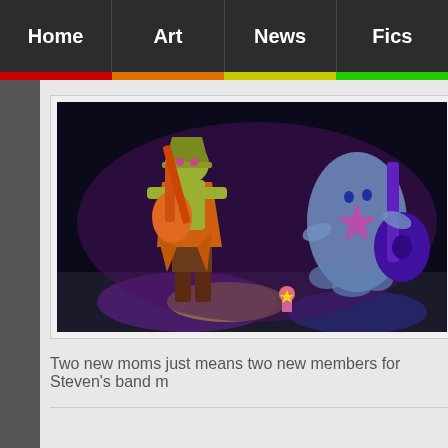Home | Art | News | Fics
[Figure (illustration): Cartoon illustration of animated characters playing guitars on a stage with purple and yellow lighting. A tall yellowish-green character in an orange coat holds a guitar on the left, and a blue ghost-like character plays guitar on the right. A small pink character stands in the middle background.]
Two new moms just means two new members for Steven's band m